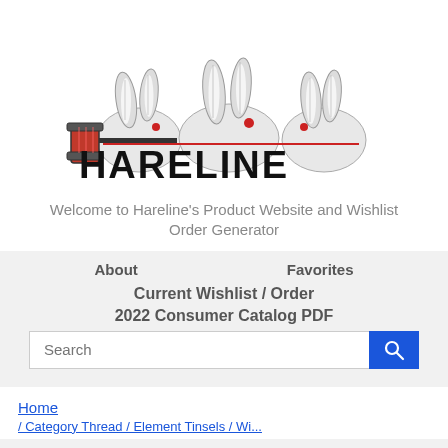[Figure (logo): Hareline logo: three illustrated rabbits/hares above a red spool of thread, with 'HARELINE' in bold black text and a horizontal red line]
Welcome to Hareline's Product Website and Wishlist Order Generator
About
Favorites
Current Wishlist / Order
2022 Consumer Catalog PDF
Search
Home
/ Category Thread / Element Tinsels / Wi...